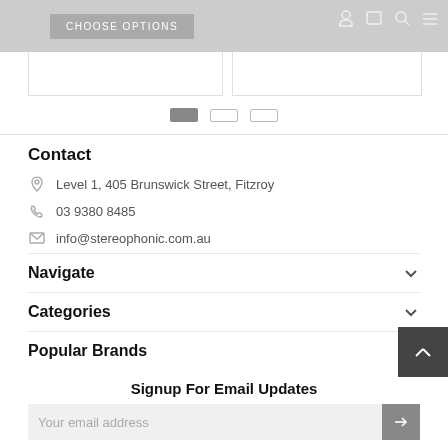[Figure (screenshot): Top bar with gray background showing CHOOSE OPTIONS button]
Contact
Level 1, 405 Brunswick Street, Fitzroy
03 9380 8485
info@stereophonic.com.au
Navigate
Categories
Popular Brands
Signup For Email Updates
Your email address